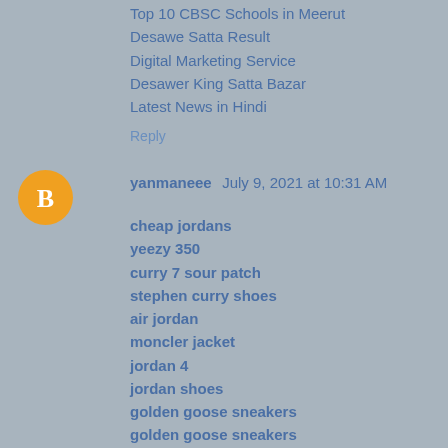Top 10 CBSC Schools in Meerut
Desawe Satta Result
Digital Marketing Service
Desawer King Satta Bazar
Latest News in Hindi
Reply
yanmaneee  July 9, 2021 at 10:31 AM
cheap jordans
yeezy 350
curry 7 sour patch
stephen curry shoes
air jordan
moncler jacket
jordan 4
jordan shoes
golden goose sneakers
golden goose sneakers
Reply